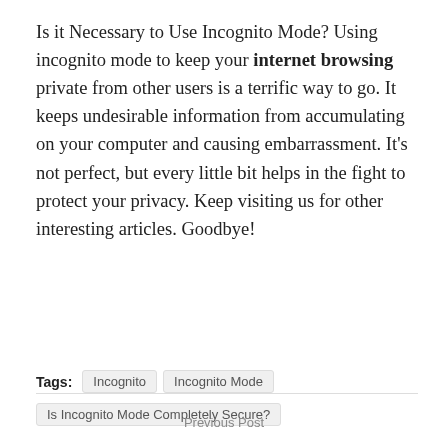Is it Necessary to Use Incognito Mode? Using incognito mode to keep your internet browsing private from other users is a terrific way to go. It keeps undesirable information from accumulating on your computer and causing embarrassment. It's not perfect, but every little bit helps in the fight to protect your privacy. Keep visiting us for other interesting articles. Goodbye!
Tags: Incognito  Incognito Mode  Is Incognito Mode Completely Secure?
Previous Post